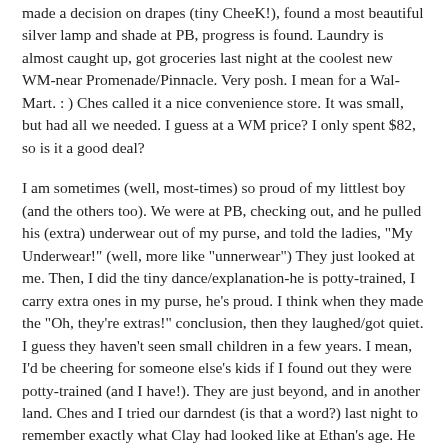made a decision on drapes (tiny CheeK!), found a most beautiful silver lamp and shade at PB, progress is found. Laundry is almost caught up, got groceries last night at the coolest new WM-near Promenade/Pinnacle. Very posh. I mean for a Wal-Mart. : ) Ches called it a nice convenience store. It was small, but had all we needed. I guess at a WM price? I only spent $82, so is it a good deal?
I am sometimes (well, most-times) so proud of my littlest boy (and the others too). We were at PB, checking out, and he pulled his (extra) underwear out of my purse, and told the ladies, "My Underwear!" (well, more like "unnerwear") They just looked at me. Then, I did the tiny dance/explanation-he is potty-trained, I carry extra ones in my purse, he's proud. I think when they made the "Oh, they're extras!" conclusion, then they laughed/got quiet. I guess they haven't seen small children in a few years. I mean, I'd be cheering for someone else's kids if I found out they were potty-trained (and I have!). They are just beyond, and in another land. Ches and I tried our darndest (is that a word?) last night to remember exactly what Clay had looked like at Ethan's age. He was similar, but much less hair. We were so mired in the birth of Mary Claire (when Clay was 17.5 months), so she was growing up